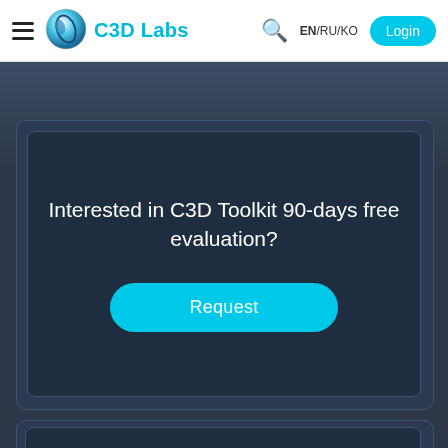C3D Labs — EN/RU/KO — Login
Interested in C3D Toolkit 90-days free evaluation?
Request
Have questions